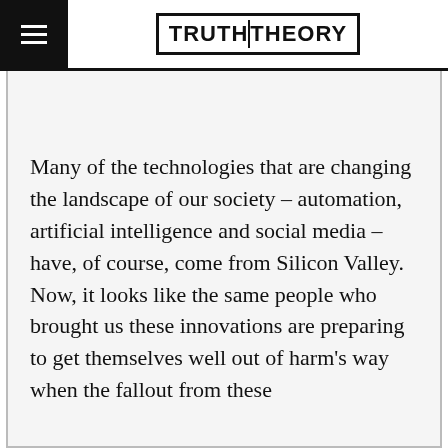TRUTH THEORY
Many of the technologies that are changing the landscape of our society – automation, artificial intelligence and social media – have, of course, come from Silicon Valley. Now, it looks like the same people who brought us these innovations are preparing to get themselves well out of harm's way when the fallout from these